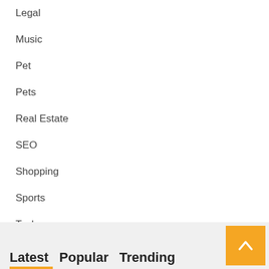Legal
Music
Pet
Pets
Real Estate
SEO
Shopping
Sports
Tech
Travel
Wedding
Latest  Popular  Trending